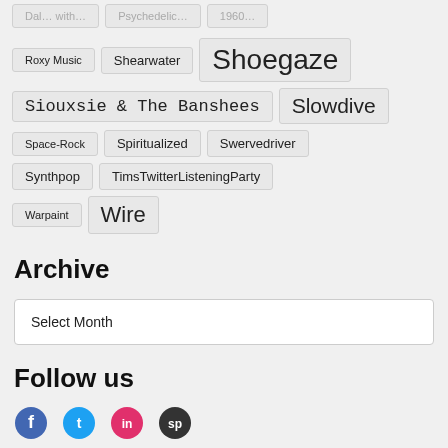Roxy Music
Shearwater
Shoegaze
Siouxsie & The Banshees
Slowdive
Space-Rock
Spiritualized
Swervedriver
Synthpop
TimsTwitterListeningParty
Warpaint
Wire
Archive
Select Month
Follow us